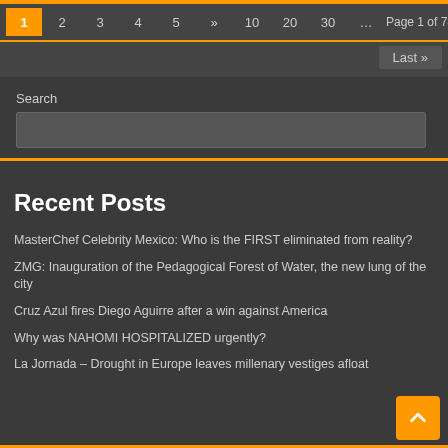1 2 3 4 5 » 10 20 30 … Page 1 of 745 Last »
Search
Recent Posts
MasterChef Celebrity Mexico: Who is the FIRST eliminated from reality?
ZMG: Inauguration of the Pedagogical Forest of Water, the new lung of the city
Cruz Azul fires Diego Aguirre after a win against America
Why was NAHOMI HOSPITALIZED urgently?
La Jornada – Drought in Europe leaves millenary vestiges afloat